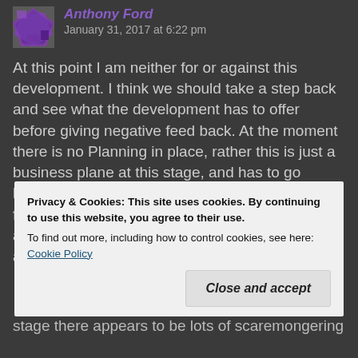Anthony Ford  January 31, 2017 at 6:22 pm
At this point I am neither for or against this development. I think we should take a step back and see what the development has to offer before giving negative feed back. At the moment there is no Planning in place, rather this is just a business plane at this stage, and has to go before the cabinet before any planning can go forward. We all know that the Beach Road Toilets are a disgrace and really need to be rebuilt. And a
Privacy & Cookies: This site uses cookies. By continuing to use this website, you agree to their use.
To find out more, including how to control cookies, see here: Cookie Policy
Close and accept
stage there appears to be lots of scaremongering